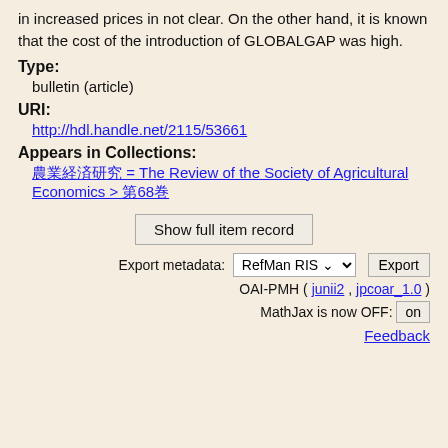in increased prices in not clear. On the other hand, it is known that the cost of the introduction of GLOBALGAP was high.
Type:
bulletin (article)
URI:
http://hdl.handle.net/2115/53661
Appears in Collections:
農業経済研究 = The Review of the Society of Agricultural Economics > 第68巻
Show full item record
Export metadata: RefMan RIS  Export
OAI-PMH ( junii2 , jpcoar_1.0 )
MathJax is now OFF:  on
Feedback